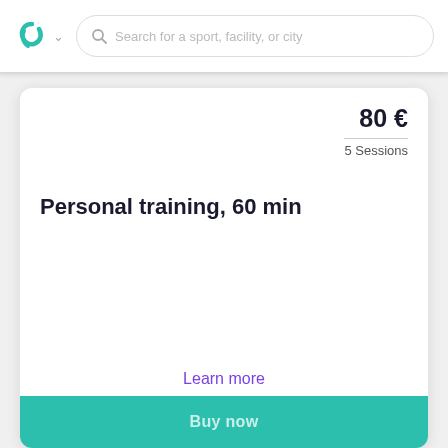Search for a sport, facility, or city
80 €
5 Sessions
Personal training, 60 min
Learn more
Buy now